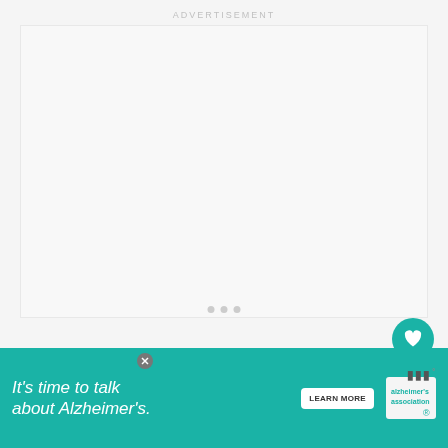ADVERTISEMENT
[Figure (screenshot): Large advertisement area placeholder - mostly blank/white space with three small dots in center]
[Figure (other): Like button (teal circle with heart icon), count 6, and share button (white circle with share icon) on right side]
[Figure (other): What's Next card: thumbnail image, label WHAT'S NEXT with arrow, title 'How to use essential oil...']
[Figure (other): Alzheimer's Association ad banner: 'It's time to talk about Alzheimer's.' with LEARN MORE button and logo]